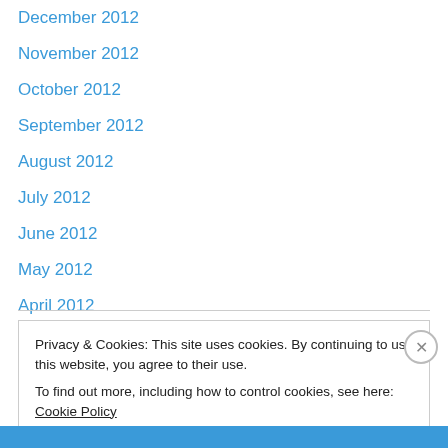December 2012
November 2012
October 2012
September 2012
August 2012
July 2012
June 2012
May 2012
April 2012
March 2012
February 2012
January 2012
Privacy & Cookies: This site uses cookies. By continuing to use this website, you agree to their use. To find out more, including how to control cookies, see here: Cookie Policy
Close and accept